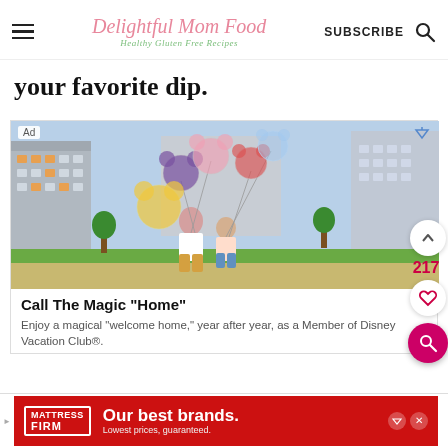Delightful Mom Food — Healthy Gluten Free Recipes | SUBSCRIBE
your favorite dip.
[Figure (photo): Advertisement: Two children walking away holding Mickey Mouse balloons in front of hotel buildings. Ad label shows 'Ad' with ad arrow icon.]
Call The Magic "Home"
Enjoy a magical “welcome home,” year after year, as a Member of Disney Vacation Club®.
[Figure (photo): Banner advertisement for Mattress Firm: 'Our best brands. Lowest prices, guaranteed.']